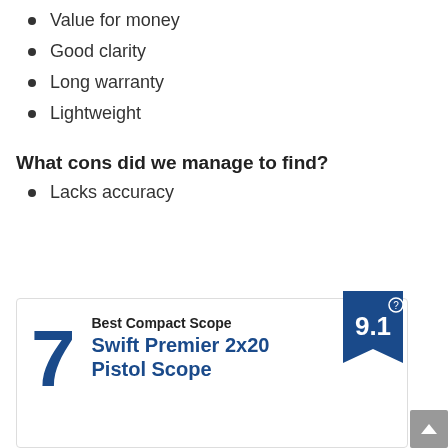Value for money
Good clarity
Long warranty
Lightweight
What cons did we manage to find?
Lacks accuracy
[Figure (infographic): Product ranking card showing rank #7, score badge 9.1, category 'Best Compact Scope', product name 'Swift Premier 2x20 Pistol Scope']